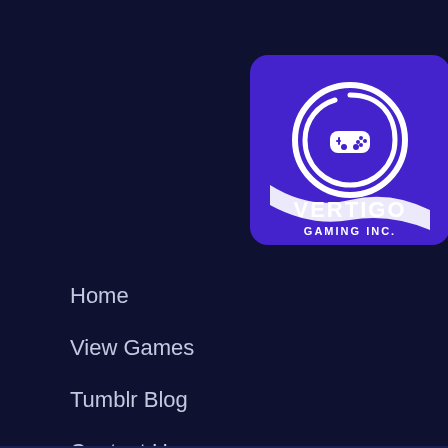[Figure (logo): Vertigo Gaming Inc. logo — purple rounded rectangle with white spiral/controller icon and text 'VERTIGO GAMING INC.']
Home
View Games
Tumblr Blog
Contact Us
More Links
Category A
Cook, S GDC 20
Posted 8 years a
[Figure (photo): Black gaming controller on light purple/grey background]